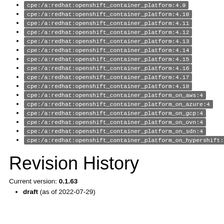cpe:/a:redhat:openshift_container_platform:4.9
cpe:/a:redhat:openshift_container_platform:4.10
cpe:/a:redhat:openshift_container_platform:4.11
cpe:/a:redhat:openshift_container_platform:4.12
cpe:/a:redhat:openshift_container_platform:4.13
cpe:/a:redhat:openshift_container_platform:4.14
cpe:/a:redhat:openshift_container_platform:4.15
cpe:/a:redhat:openshift_container_platform:4.16
cpe:/a:redhat:openshift_container_platform:4.17
cpe:/a:redhat:openshift_container_platform:4.18
cpe:/a:redhat:openshift_container_platform_on_aws:4
cpe:/a:redhat:openshift_container_platform_on_azure:4
cpe:/a:redhat:openshift_container_platform_on_gcp:4
cpe:/a:redhat:openshift_container_platform_on_ovn:4
cpe:/a:redhat:openshift_container_platform_on_sdn:4
cpe:/a:redhat:openshift_container_platform_on_hypershift:4
Revision History
Current version: 0.1.63
draft (as of 2022-07-29)